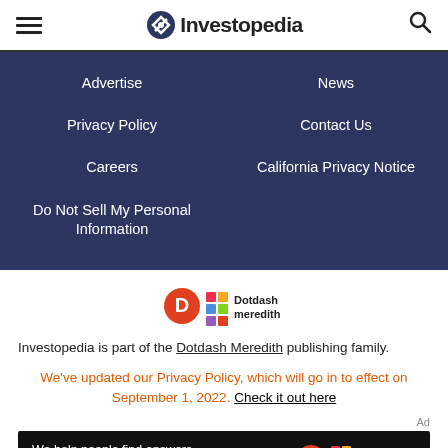Investopedia
Advertise
News
Privacy Policy
Contact Us
Careers
California Privacy Notice
Do Not Sell My Personal Information
[Figure (logo): Dotdash Meredith logo with colorful diamond/squares pattern and red D circle]
Investopedia is part of the Dotdash Meredith publishing family.
We've updated our Privacy Policy, which will go in to effect on September 1, 2022. Check it out here
Ad
[Figure (screenshot): Ad banner: We help people find answers, solve problems and get inspired. Dotdash meredith logo]